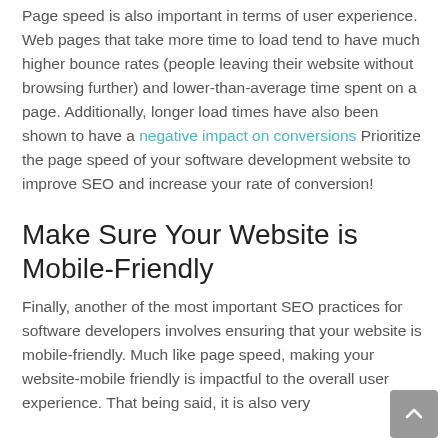Page speed is also important in terms of user experience. Web pages that take more time to load tend to have much higher bounce rates (people leaving their website without browsing further) and lower-than-average time spent on a page. Additionally, longer load times have also been shown to have a negative impact on conversions Prioritize the page speed of your software development website to improve SEO and increase your rate of conversion!
Make Sure Your Website is Mobile-Friendly
Finally, another of the most important SEO practices for software developers involves ensuring that your website is mobile-friendly. Much like page speed, making your website-mobile friendly is impactful to the overall user experience. That being said, it is also very